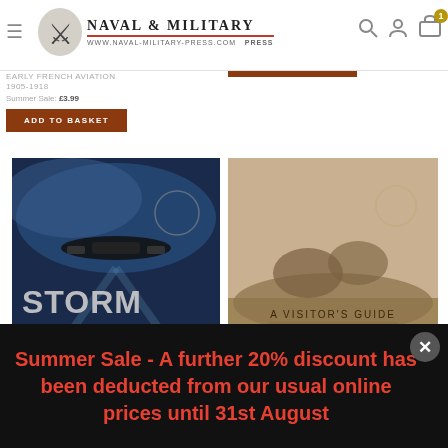[Figure (logo): Naval & Military Press logo with knight/soldier icon]
EARLY FRENCH AVIATION 1905-1918
Summer Sale: £3.99
ADD TO BASKET
IMAGES OF WAR: HUNGARIAN AIR-GUIDED FIGHTING
Summer Sale: £3.99
ADD TO BASKET
[Figure (photo): Book cover: Storm Over Europe - Bombing Missions in the Second World War, with -78% discount badge]
[Figure (photo): Book cover: A Visitor's Guide - The Battles of Arras South, Bullecourt, Monchy-le-Preux, Wancourt and the Valley of the Scarpe, with -73% discount badge]
Summer Sale - A further 20% discount has been deducted from our usual online prices until 31st August